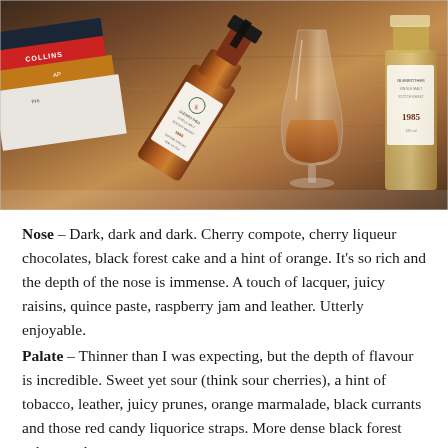[Figure (photo): A whisky bottle lying on its side next to a whisky glass containing amber liquid, with books stacked in the background and another bottle visible on the right, all on a wooden surface.]
Nose – Dark, dark and dark. Cherry compote, cherry liqueur chocolates, black forest cake and a hint of orange. It's so rich and the depth of the nose is immense. A touch of lacquer, juicy raisins, quince paste, raspberry jam and leather. Utterly enjoyable.
Palate – Thinner than I was expecting, but the depth of flavour is incredible. Sweet yet sour (think sour cherries), a hint of tobacco, leather, juicy prunes, orange marmalade, black currants and those red candy liquorice straps. More dense black forest cake, raspberry